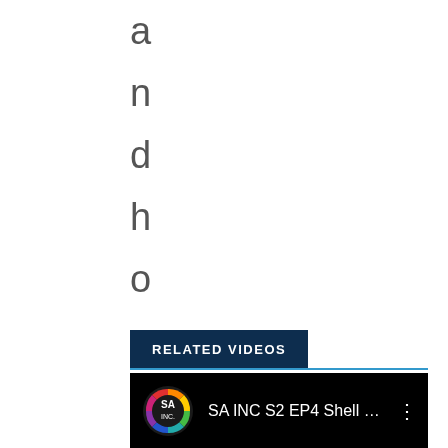a n d h o p e .
RELATED VIDEOS
[Figure (screenshot): YouTube video thumbnail card showing 'SA INC S2 EP4 Shell Sh...' with SA INC logo on black background]